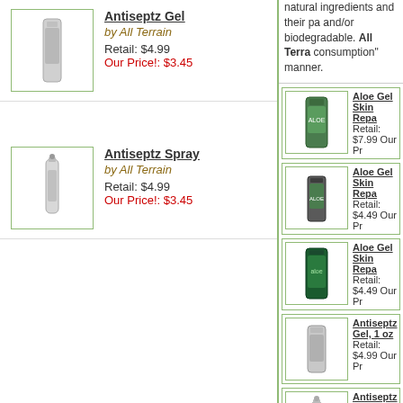Antiseptz Gel by All Terrain Retail: $4.99 Our Price!: $3.45
Antiseptz Spray by All Terrain Retail: $4.99 Our Price!: $3.45
natural ingredients and their pa and/or biodegradable. All Terra consumption" manner.
Aloe Gel Skin Repa Retail: $7.99 Our Pr
Aloe Gel Skin Repa Retail: $4.49 Our Pr
Aloe Gel Skin Repa Retail: $4.49 Our Pr
Antiseptz Gel, 1 oz Retail: $4.99 Our Pr
Antiseptz Spray, 2 Retail: $4.99 Our Pr
AquaSport SPF 15 Retail: $11.99 Our P
AquaSport SPF15, Terrain